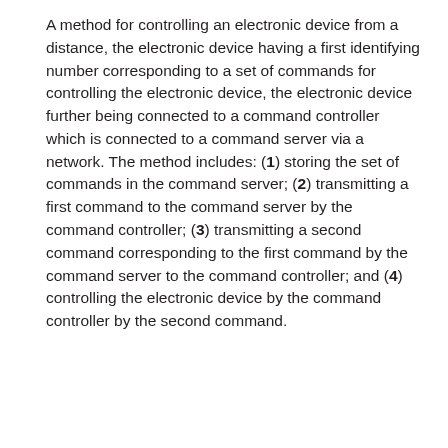A method for controlling an electronic device from a distance, the electronic device having a first identifying number corresponding to a set of commands for controlling the electronic device, the electronic device further being connected to a command controller which is connected to a command server via a network. The method includes: (1) storing the set of commands in the command server; (2) transmitting a first command to the command server by the command controller; (3) transmitting a second command corresponding to the first command by the command server to the command controller; and (4) controlling the electronic device by the command controller by the second command.